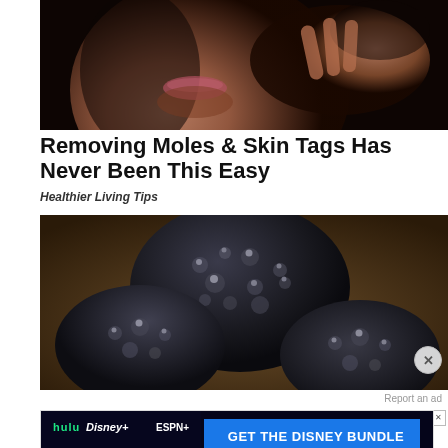[Figure (photo): Close-up of a man's lower face and hand touching his chin against a dark background]
Removing Moles & Skin Tags Has Never Been This Easy
Healthier Living Tips
[Figure (photo): Close-up photo of dark black textured objects resembling truffles or stones on a brownish surface]
Report an ad
[Figure (infographic): Disney Bundle advertisement banner showing Hulu, Disney+, and ESPN+ logos with text 'GET THE DISNEY BUNDLE' and fine print about Hulu ad-supported or No Ads options]